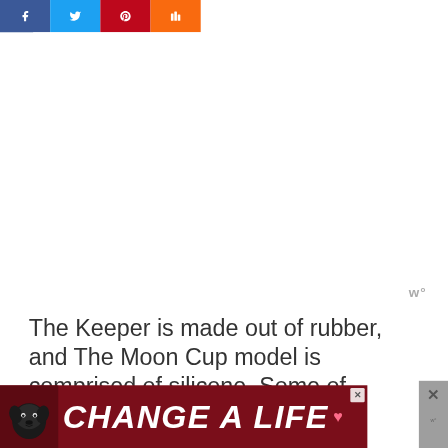[Figure (screenshot): Social media share buttons bar with Facebook (blue), Twitter (light blue), Pinterest (red), and Mix (orange) icons]
[Figure (screenshot): Advertisement placeholder whitespace area with Wordmark watermark 'w°' in grey at bottom right]
The Keeper is made out of rubber, and The Moon Cup model is comprised of silicone. Some of
[Figure (screenshot): Banner advertisement with dog image and text 'CHANGE A LIFE' with heart icon on dark red background, with close button]